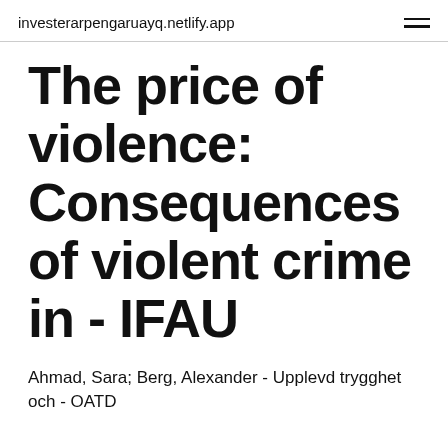investerarpengaruayq.netlify.app
The price of violence: Consequences of violent crime in - IFAU
Ahmad, Sara; Berg, Alexander - Upplevd trygghet och - OATD